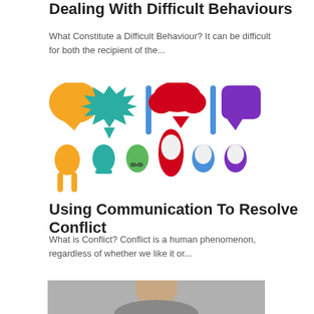Dealing With Difficult Behaviours
What Constitute a Difficult Behaviour? It can be difficult for both the recipient of the...
[Figure (illustration): Colorful cartoon speech bubbles and diverse people silhouettes with various hair styles in multiple colors (orange, teal, green, red, blue, purple)]
Using Communication To Resolve Conflict
What is Conflict? Conflict is a human phenomenon, regardless of whether we like it or...
[Figure (photo): Photo of a person, partially visible at the bottom of the page, appearing to be in a stressed or concerned pose]